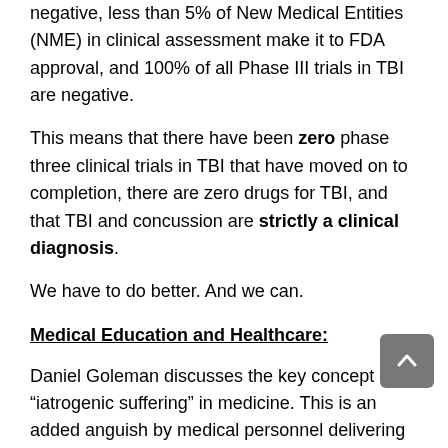negative, less than 5% of New Medical Entities (NME) in clinical assessment make it to FDA approval, and 100% of all Phase III trials in TBI are negative.
This means that there have been zero phase three clinical trials in TBI that have moved on to completion, there are zero drugs for TBI, and that TBI and concussion are strictly a clinical diagnosis.
We have to do better. And we can.
Medical Education and Healthcare:
Daniel Goleman discusses the key concept of “iatrogenic suffering” in medicine. This is an added anguish by medical personnel delivering insensitive messages that can often engender more emotional suffering than the actual illness itself[15].
Historically in medicine if we do not understand an injury or disease